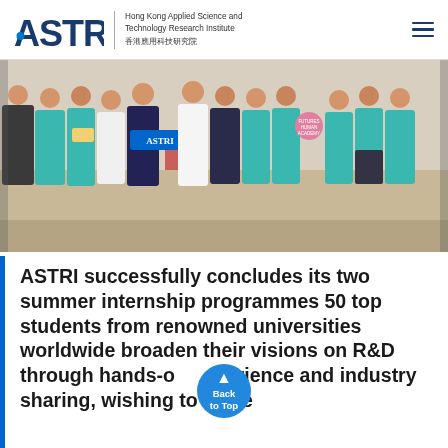ASTRI Hong Kong Applied Science and Technology Research Institute 香港應用科技研究院
[Figure (photo): Group photo of approximately 12 people standing in a line, many wearing teal/turquoise ASTRI t-shirts, holding small items and an ASTRI sign, in an indoor venue.]
ASTRI successfully concludes its two summer internship programmes 50 top students from renowned universities worldwide broaden their visions on R&D through hands-on experience and industry sharing, wishing to make